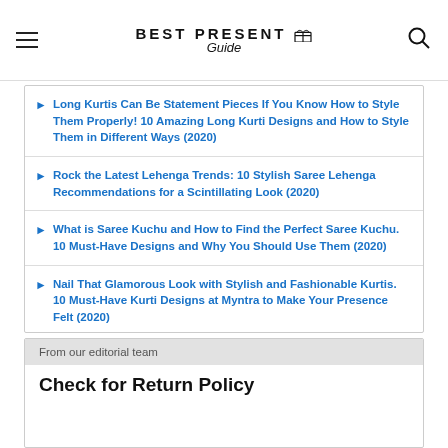BEST PRESENT Guide
Long Kurtis Can Be Statement Pieces If You Know How to Style Them Properly! 10 Amazing Long Kurti Designs and How to Style Them in Different Ways (2020)
Rock the Latest Lehenga Trends: 10 Stylish Saree Lehenga Recommendations for a Scintillating Look (2020)
What is Saree Kuchu and How to Find the Perfect Saree Kuchu. 10 Must-Have Designs and Why You Should Use Them (2020)
Nail That Glamorous Look with Stylish and Fashionable Kurtis. 10 Must-Have Kurti Designs at Myntra to Make Your Presence Felt (2020)
From our editorial team
Check for Return Policy